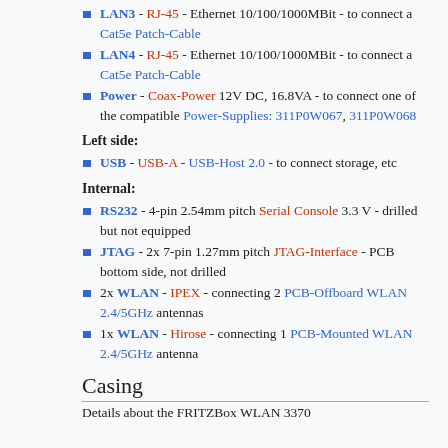LAN3 - RJ-45 - Ethernet 10/100/1000MBit - to connect a Cat5e Patch-Cable
LAN4 - RJ-45 - Ethernet 10/100/1000MBit - to connect a Cat5e Patch-Cable
Power - Coax-Power 12V DC, 16.8VA - to connect one of the compatible Power-Supplies: 311P0W067, 311P0W068
Left side:
USB - USB-A - USB-Host 2.0 - to connect storage, etc
Internal:
RS232 - 4-pin 2.54mm pitch Serial Console 3.3 V - drilled but not equipped
JTAG - 2x 7-pin 1.27mm pitch JTAG-Interface - PCB bottom side, not drilled
2x WLAN - IPEX - connecting 2 PCB-Offboard WLAN 2.4/5GHz antennas
1x WLAN - Hirose - connecting 1 PCB-Mounted WLAN 2.4/5GHz antenna
Casing
Details about the FRITZBox WLAN 3370